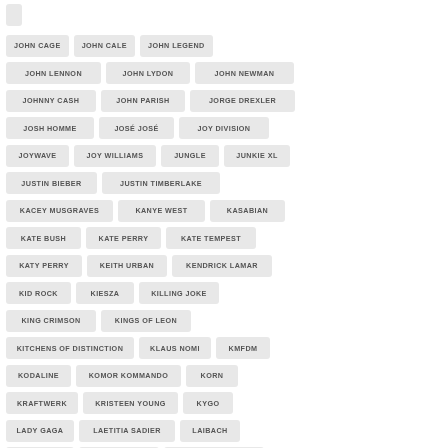JOHN CAGE
JOHN CALE
JOHN LEGEND
JOHN LENNON
JOHN LYDON
JOHN NEWMAN
JOHNNY CASH
JOHN PARISH
JORGE DREXLER
JOSH HOMME
JOSÉ JOSÉ
JOY DIVISION
JOYWAVE
JOY WILLIAMS
JUNGLE
JUNKIE XL
JUSTIN BIEBER
JUSTIN TIMBERLAKE
KACEY MUSGRAVES
KANYE WEST
KASABIAN
KATE BUSH
KATE PERRY
KATE TEMPEST
KATY PERRY
KEITH URBAN
KENDRICK LAMAR
KID ROCK
KIESZA
KILLING JOKE
KING CRIMSON
KINGS OF LEON
KITCHENS OF DISTINCTION
KLAUS NOMI
KMFDM
KODALINE
KOMOR KOMMANDO
KORN
KRAFTWERK
KRISTEEN YOUNG
KYGO
LADY GAGA
LAETITIA SADIER
LAIBACH
LA LUPITA
LANA DEL REY
LCD SOUNDSYSTEM